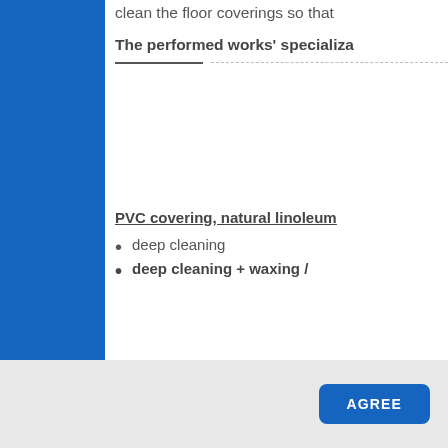clean the floor coverings so that
The performed works' specializa
— — — — — — — — — — — — — — —
PVC covering, natural linoleum
deep cleaning
deep cleaning + waxing /
AGREE